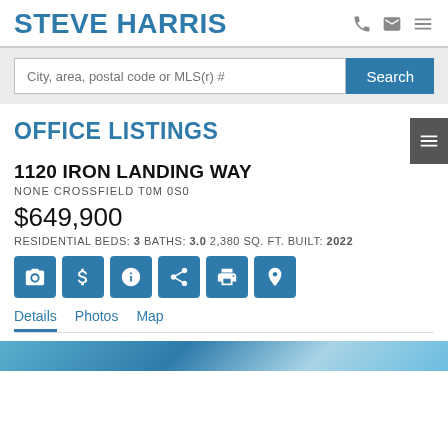STEVE HARRIS
City, area, postal code or MLS(r) #
OFFICE LISTINGS
1120 IRON LANDING WAY
NONE CROSSFIELD T0M 0S0
$649,900
RESIDENTIAL BEDS: 3 BATHS: 3.0 2,380 SQ. FT. BUILT: 2022
Details  Photos  Map
[Figure (photo): Blue tinted banner/photo strip at the bottom of the listing page]